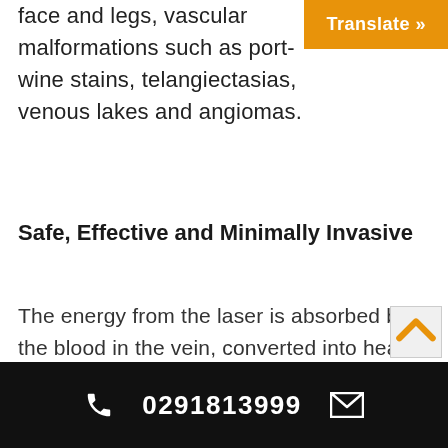face and legs, vascular malformations such as port-wine stains, telangiectasias, venous lakes and angiomas.
[Figure (other): Orange 'Translate »' button in top-right corner]
Safe, Effective and Minimally Invasive
The energy from the laser is absorbed by the blood in the vein, converted into heat, and the vein walls are subsequently destroyed. In comparison with
0291813999